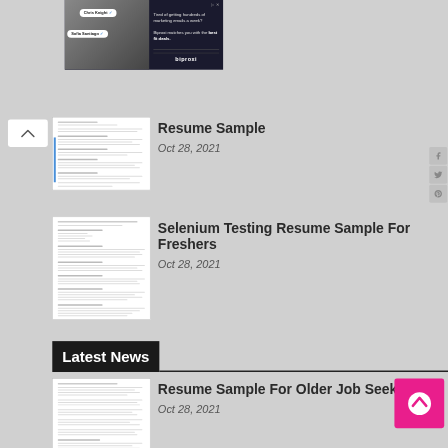[Figure (screenshot): Ad banner for biproxi with person badges Chris Knight and Sofia Santiago on a dark background. Right side reads: Tired of getting hundreds of marketing emails a week? Biproxi matches you with the best fit deals.]
[Figure (screenshot): Resume document thumbnail with text lines]
Resume Sample
Oct 28, 2021
[Figure (screenshot): Selenium Testing resume document thumbnail with text lines]
Selenium Testing Resume Sample For Freshers
Oct 28, 2021
Latest News
[Figure (screenshot): Resume Sample For Older Job Seekers document thumbnail]
Resume Sample For Older Job Seekers
Oct 28, 2021